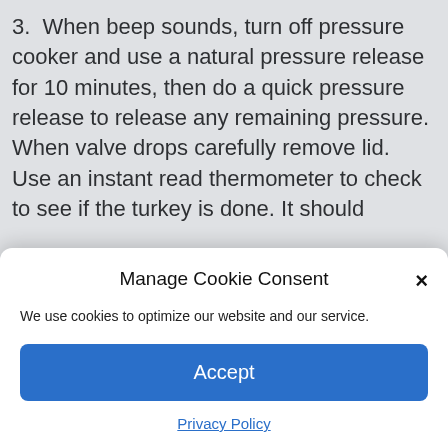3. When beep sounds, turn off pressure cooker and use a natural pressure release for 10 minutes, then do a quick pressure release to release any remaining pressure. When valve drops carefully remove lid. Use an instant read thermometer to check to see if the turkey is done. It should
thickens. Add salt and pepper to taste.
6. Remove and discard the skin. Slice the turkey and serve immediately.
Next week I'll post my pressure cooking stuffing recipe. (I know
Manage Cookie Consent
We use cookies to optimize our website and our service.
Accept
Privacy Policy